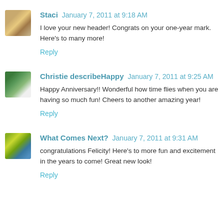Staci  January 7, 2011 at 9:18 AM
I love your new header! Congrats on your one-year mark. Here's to many more!
Reply
Christie describeHappy  January 7, 2011 at 9:25 AM
Happy Anniversary!! Wonderful how time flies when you are having so much fun! Cheers to another amazing year!
Reply
What Comes Next?  January 7, 2011 at 9:31 AM
congratulations Felicity! Here's to more fun and excitement in the years to come! Great new look!
Reply